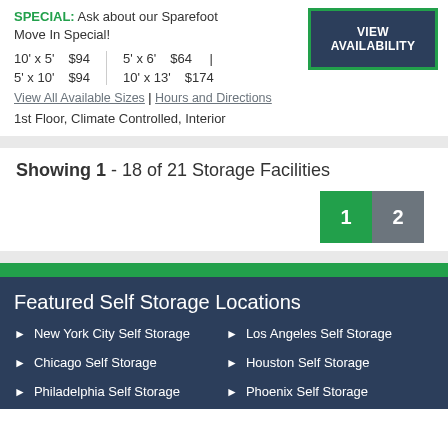SPECIAL: Ask about our Sparefoot Move In Special!
10' x 5'  $94  |  5' x 6'  $64  |
5' x 10'  $94  |  10' x 13'  $174
View All Available Sizes | Hours and Directions
1st Floor, Climate Controlled, Interior
Showing 1 - 18 of 21 Storage Facilities
Pagination: 1 2
Featured Self Storage Locations
New York City Self Storage
Los Angeles Self Storage
Chicago Self Storage
Houston Self Storage
Philadelphia Self Storage
Phoenix Self Storage